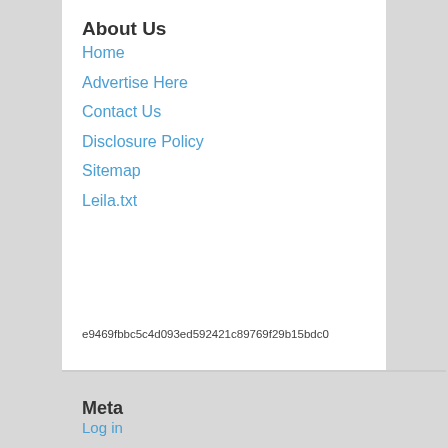About Us
Home
Advertise Here
Contact Us
Disclosure Policy
Sitemap
Leila.txt
e9469fbbc5c4d093ed592421c89769f29b15bdc0
Meta
Log in